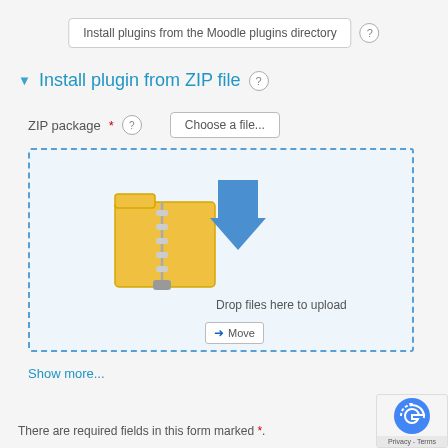[Figure (screenshot): Button labeled 'Install plugins from the Moodle plugins directory' with a help icon]
Install plugin from ZIP file
ZIP package (required) - Choose a file...
[Figure (screenshot): Drop zone with dashed blue border, folder with zipper icon, blue download arrow, 'Drop files here to upload' text, and 'Move' tooltip]
Show more...
[Figure (screenshot): Blue button labeled 'Install plugin from the ZIP file']
There are required fields in this form marked *
[Figure (logo): reCAPTCHA badge with Privacy - Terms text]